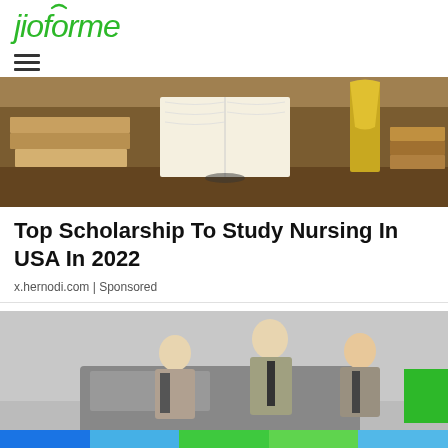[Figure (logo): jioforme logo in green italic text]
[Figure (illustration): Hamburger/menu icon with three horizontal lines]
[Figure (photo): Stack of books on a table with an open book in the center, brown warm tones]
Top Scholarship To Study Nursing In USA In 2022
x.hernodi.com | Sponsored
[Figure (photo): Three men in suits standing next to a car, vintage style photo on grey background]
[Figure (infographic): Colored bar strip at the bottom with blue, light blue, green, lime green, and sky blue segments; green rectangle box on the right]